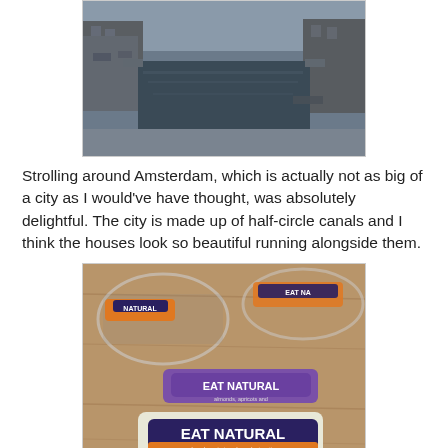[Figure (photo): A canal in Amsterdam with buildings and cars along the banks, dark water reflecting the surroundings.]
Strolling around Amsterdam, which is actually not as big of a city as I would've have thought, was absolutely delightful. The city is made up of half-circle canals and I think the houses look so beautiful running alongside them.
[Figure (photo): Several Eat Natural snack bars on a wooden table, including bars with purple and orange packaging.]
The next morning, following a lecture at the local university, I was in desperate need of hydration and made my way over